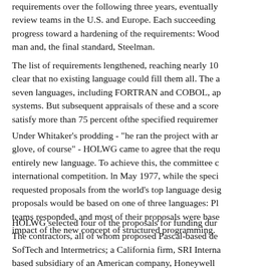requirements over the following three years, eventually review teams in the U.S. and Europe. Each succeeding progress toward a hardening of the requirements: Wood man and, the final standard, Steelman.
The list of requirements lengthened, reaching nearly 10 clear that no existing language could fill them all. The a seven languages, including FORTRAN and COBOL, ap systems. But subsequent appraisals of these and a score satisfy more than 75 percent ofthe specified requiremer
Under Whitaker's prodding - "he ran the project with ar glove, of course" - HOLWG came to agree that the requ entirely new language. To achieve this, the committee c international competition. ln May 1977, while the speci requested proposals from the world's top language desig proposals would be based on one of three languages: Pl teams responded, and most of their proposals were base impact of the new concept of structured programming.
HOLWG selected four of the proposals for funding dur The contractors, all of whom proposed Pascal-based de SofTech and lntermetrics; a California firm, SRI Interna based subsidiary of an American company, Honeywell entry received a color code name to preserve its anonyr predilections of the contractors were so familiar that ast